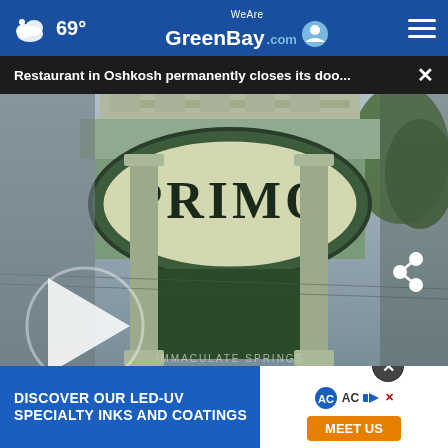69° WeAreGreenBay.com
Restaurant in Oshkosh permanently closes its doo...
[Figure (photo): Exterior sign of Primo restaurant on a building facade, with green awning and columns visible. A play button overlay is shown on the left side indicating a video.]
[Figure (infographic): Advertisement banner: DISCOVER OUR LED-UV SPECIALTY INKS AND COATINGS with a MEET US button, AC logo branding, displayed over a background image of red berries/food with powdered sugar.]